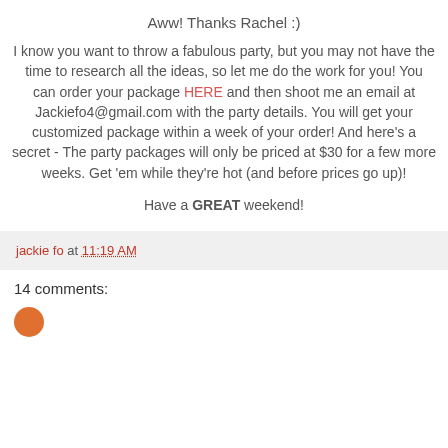Aww! Thanks Rachel :)
I know you want to throw a fabulous party, but you may not have the time to research all the ideas, so let me do the work for you! You can order your package HERE and then shoot me an email at Jackiefo4@gmail.com with the party details. You will get your customized package within a week of your order! And here's a secret - The party packages will only be priced at $30 for a few more weeks. Get 'em while they're hot (and before prices go up)!
Have a GREAT weekend!
jackie fo at 11:19 AM
14 comments: